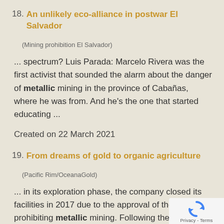18. An unlikely eco-alliance in postwar El Salvador
(Mining prohibition El Salvador)
... spectrum? Luis Parada: Marcelo Rivera was the first activist that sounded the alarm about the danger of metallic mining in the province of Cabañas, where he was from. And he's the one that started educating ...
Created on 22 March 2021
19. From dreams of gold to organic agriculture
(Pacific Rim/OceanaGold)
... in its exploration phase, the company closed its facilities in 2017 due to the approval of the Law prohibiting metallic mining. Following the expectations of a local sector to improve the living